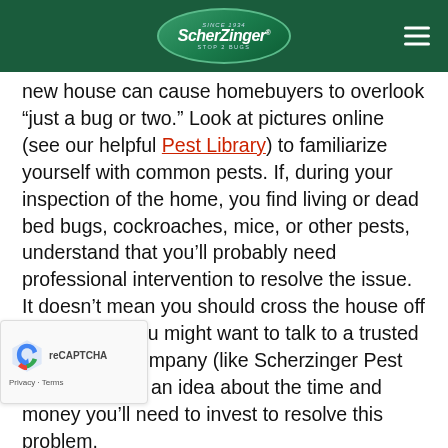ScherZinger Stop 2 Bugs
new house can cause homebuyers to overlook “just a bug or two.” Look at pictures online (see our helpful Pest Library) to familiarize yourself with common pests. If, during your inspection of the home, you find living or dead bed bugs, cockroaches, mice, or other pests, understand that you’ll probably need professional intervention to resolve the issue. It doesn’t mean you should cross the house off your list but you might want to talk to a trusted pest control company (like Scherzinger Pest Control) to get an idea about the time and money you’ll need to invest to resolve this problem.
ST CONTROL ITEMS
Items like mouse traps, bug spray, insecticides, roach bait,